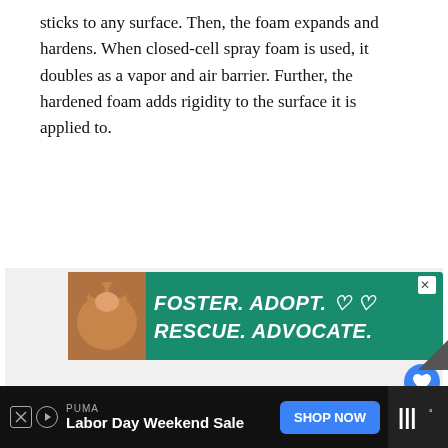sticks to any surface. Then, the foam expands and hardens. When closed-cell spray foam is used, it doubles as a vapor and air barrier. Further, the hardened foam adds rigidity to the surface it is applied to.
[Figure (illustration): Advertisement banner with green background showing a dog and text: FOSTER. ADOPT. RESCUE. ADVOCATE. with heart icons]
[Figure (infographic): UI elements: heart/like button (blue circle), share button, count '2', and 'WHAT'S NEXT -> How To Install Mineral Woo...' with thumbnail]
[Figure (infographic): Bottom advertisement bar: PUMA Labor Day Weekend Sale, SHOP NOW button, and logo area]